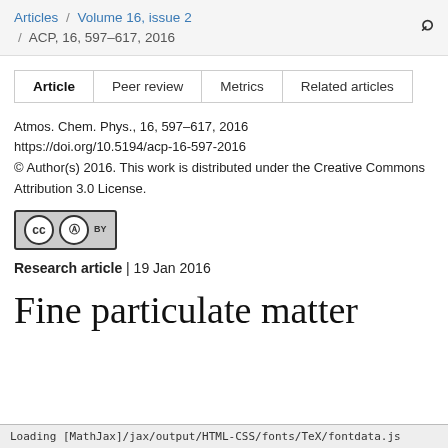Articles / Volume 16, issue 2 / ACP, 16, 597–617, 2016
| Article | Peer review | Metrics | Related articles |
| --- | --- | --- | --- |
Atmos. Chem. Phys., 16, 597–617, 2016
https://doi.org/10.5194/acp-16-597-2016
© Author(s) 2016. This work is distributed under the Creative Commons Attribution 3.0 License.
[Figure (logo): Creative Commons Attribution (CC BY) license badge]
Research article | 19 Jan 2016
Fine particulate matter
Loading [MathJax]/jax/output/HTML-CSS/fonts/TeX/fontdata.js